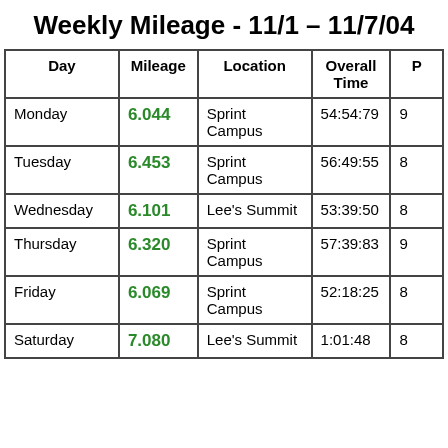Weekly Mileage - 11/1 – 11/7/04
| Day | Mileage | Location | Overall Time | P |
| --- | --- | --- | --- | --- |
| Monday | 6.044 | Sprint Campus | 54:54:79 | 9 |
| Tuesday | 6.453 | Sprint Campus | 56:49:55 | 8 |
| Wednesday | 6.101 | Lee's Summit | 53:39:50 | 8 |
| Thursday | 6.320 | Sprint Campus | 57:39:83 | 9 |
| Friday | 6.069 | Sprint Campus | 52:18:25 | 8 |
| Saturday | 7.080 | Lee's Summit | 1:01:48 | 8 |